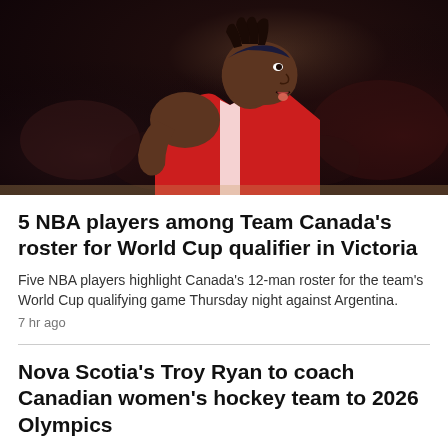[Figure (photo): Basketball player wearing a red jersey and dark headband, leaning forward with mouth open, photographed during a game with blurred crowd in background]
5 NBA players among Team Canada's roster for World Cup qualifier in Victoria
Five NBA players highlight Canada's 12-man roster for the team's World Cup qualifying game Thursday night against Argentina.
7 hr ago
Nova Scotia's Troy Ryan to coach Canadian women's hockey team to 2026 Olympics